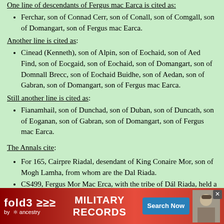One line of descendants of Fergus mac Earca is cited as:
Ferchar, son of Connad Cerr, son of Conall, son of Comgall, son of Domangart, son of Fergus mac Earca.
Another line is cited as:
Cinead (Kenneth), son of Alpin, son of Eochaid, son of Aed Find, son of Eocgaid, son of Eochaid, son of Domangart, son of Domnall Brecc, son of Eochaid Buidhe, son of Aedan, son of Gabran, son of Domangart, son of Fergus mac Earca.
Still another line is cited as:
Fianamhail, son of Dunchad, son of Duban, son of Duncath, son of Eoganan, son of Gabran, son of Domangart, son of Fergus mac Earca.
The Annals cite:
For 165, Cairpre Riadal, desendant of King Conaire Mor, son of Mogh Lamha, from whom are the Dal Riada.
CS499, Fergus Mor Mac Erca, with the tribe of Dál Riada, held a part of Britain and died there.
For 501/03, Feargus Mor mac Earca, king of Dal Riada (Alba), died.
for 565, Conall, son of Comhgall, chief of Dal Riada.
For 572, Conall, son of Comhgall, King of Dal Riada, died. It w...
For ...
For ...ride2...